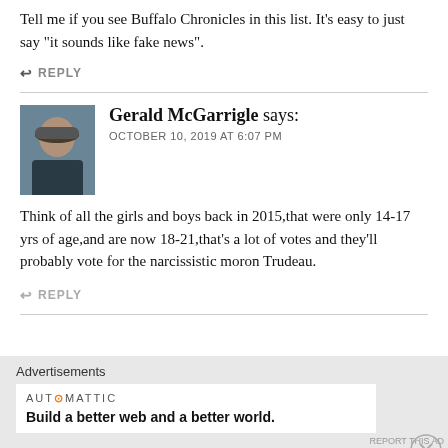Tell me if you see Buffalo Chronicles in this list. It's easy to just say "it sounds like fake news".
↩ REPLY
Gerald McGarrigle says: OCTOBER 10, 2019 AT 6:07 PM
Think of all the girls and boys back in 2015,that were only 14-17 yrs of age,and are now 18-21,that's a lot of votes and they'll probably vote for the narcissistic moron Trudeau.
↩ REPLY
Advertisements
AUTOMATTIC
Build a better web and a better world.